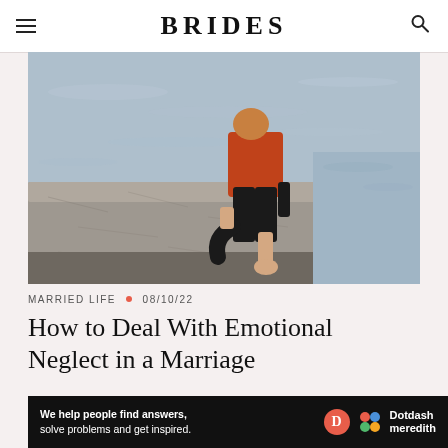BRIDES
[Figure (photo): Person in orange top and black pants sitting on a large stone block by water, feet dangling, photographed from side/back angle]
MARRIED LIFE • 08/10/22
How to Deal With Emotional Neglect in a Marriage
[Figure (infographic): Dotdash Meredith advertisement banner: 'We help people find answers, solve problems and get inspired.' with Dotdash Meredith logo]